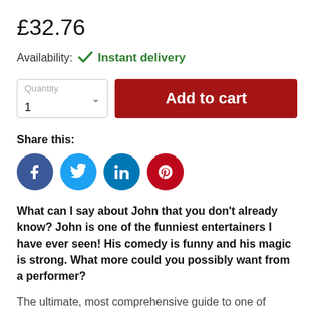£32.76
Availability: ✓ Instant delivery
Quantity 1 | Add to cart
Share this:
[Figure (other): Social media share icons: Facebook (blue circle), Twitter (light blue circle), LinkedIn (blue circle), Pinterest (red circle)]
What can I say about John that you don't already know? John is one of the funniest entertainers I have ever seen! His comedy is funny and his magic is strong. What more could you possibly want from a performer?
The ultimate, most comprehensive guide to one of mentalism's most versatile routines. John Archer has